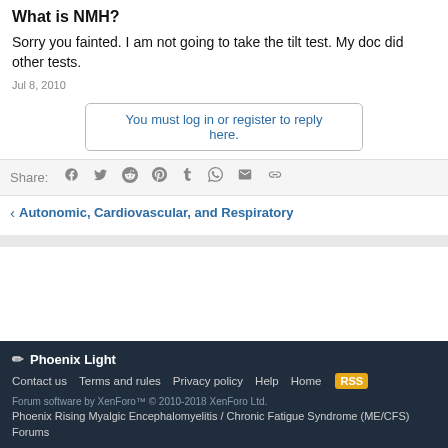What is NMH?
Sorry you fainted. I am not going to take the tilt test. My doc did other tests.
Jul 8, 2010
You must log in or register to reply here.
Share:
Autonomic, Cardiovascular, and Respiratory
Phoenix Light
Contact us  Terms and rules  Privacy policy  Help  Home
Forum software by XenForo™ © 2010-2018 XenForo Ltd.
Phoenix Rising Myalgic Encephalomyelitis / Chronic Fatigue Syndrome (ME/CFS) Forums